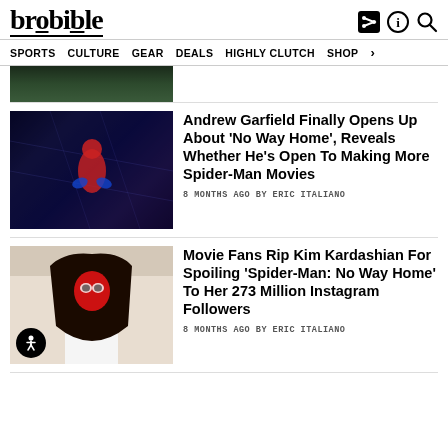brobible
SPORTS   CULTURE   GEAR   DEALS   HIGHLY CLUTCH   SHOP
[Figure (photo): Partially visible image cropped at top of page]
Andrew Garfield Finally Opens Up About ‘No Way Home’, Reveals Whether He’s Open To Making More Spider-Man Movies
8 MONTHS AGO BY ERIC ITALIANO
[Figure (photo): Woman wearing Spider-Man mask in white outfit]
Movie Fans Rip Kim Kardashian For Spoiling ‘Spider-Man: No Way Home’ To Her 273 Million Instagram Followers
8 MONTHS AGO BY ERIC ITALIANO